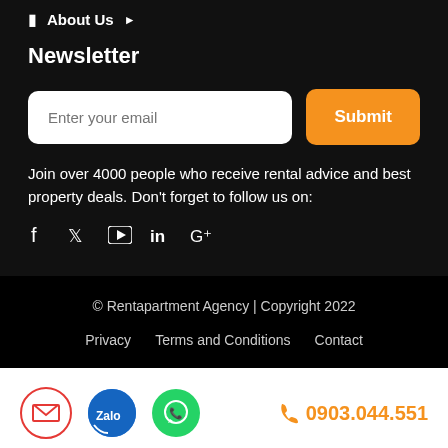About Us ▶
Newsletter
Enter your email | Submit
Join over 4000 people who receive rental advice and best property deals. Don't forget to follow us on:
[Figure (infographic): Social media icons: Facebook, Twitter, YouTube, LinkedIn, Google+]
© Rentapartment Agency | Copyright 2022
Privacy   Terms and Conditions   Contact
0903.044.551 with Gmail, Zalo, WhatsApp icons